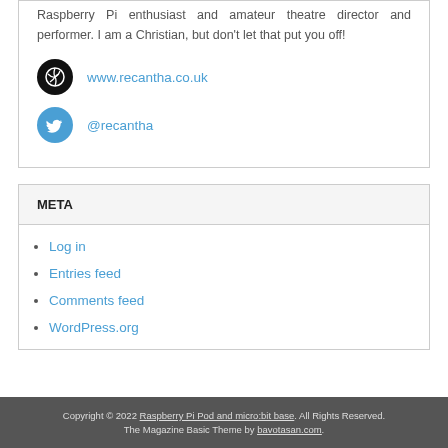Raspberry Pi enthusiast and amateur theatre director and performer. I am a Christian, but don't let that put you off!
www.recantha.co.uk
@recantha
META
Log in
Entries feed
Comments feed
WordPress.org
Copyright © 2022 Raspberry Pi Pod and micro:bit base. All Rights Reserved. The Magazine Basic Theme by bavotasan.com.